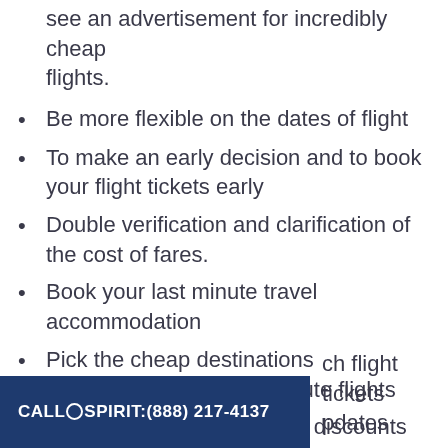see an advertisement for incredibly cheap flights.
Be more flexible on the dates of flight
To make an early decision and to book your flight tickets early
Double verification and clarification of the cost of fares.
Book your last minute travel accommodation
Pick the cheap destinations recommended for last-minute flights
Taking advantage of all the discounts
Be more mobile at arrival and departure points;
Ready to go on a weekend holiday
ch flight tickets
pdates
CALL©SPIRIT:(888) 217-4137